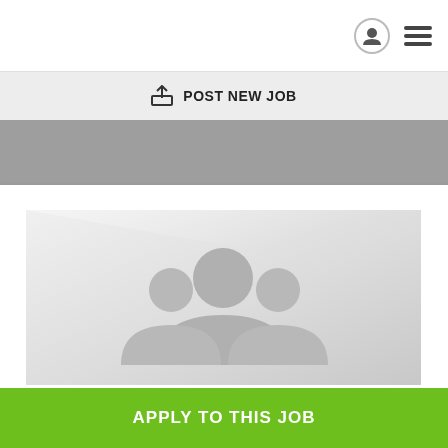[Figure (screenshot): Mobile app top navigation bar with user profile icon (circle) and hamburger menu icon on the right side]
POST NEW JOB
[Figure (photo): Gray placeholder image with a group of people silhouette icon in the center, representing a job listing image placeholder]
APPLY TO THIS JOB